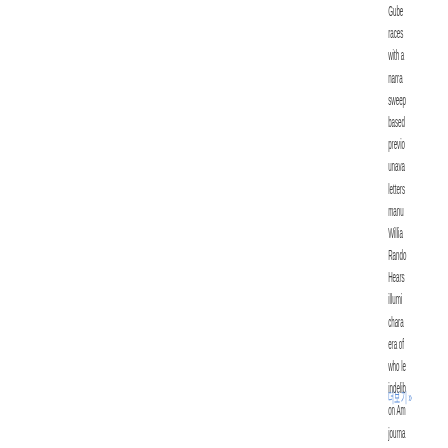Gubernatorial races with a narrative sweep based on previously unavailable letters and manuscripts. William Randolph Hearst illuminates the character of an era of change who left an indelible mark on American journalism.
더보기 »